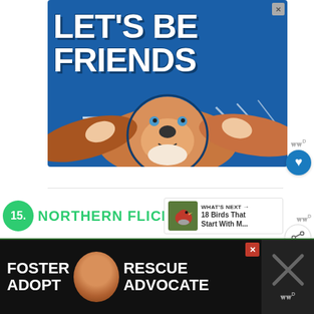[Figure (illustration): Advertisement banner with blue background showing text 'LET'S BE FRIENDS' and a basset hound with ears being pulled wide by two hands. Decorative white line stripes at bottom left.]
15. NORTHERN FLICKER
[Figure (photo): Thumbnail image of a bird (Northern Cardinal or similar red bird) on a branch, adjacent to 'WHAT'S NEXT' label reading '18 Birds That Start With M...']
[Figure (illustration): Bottom advertisement with dark background and text 'FOSTER ADOPT' on the left and 'RESCUE ADVOCATE' on the right, with a dog image in the center. Close button visible. Right side shows an X icon overlay and share icon.]